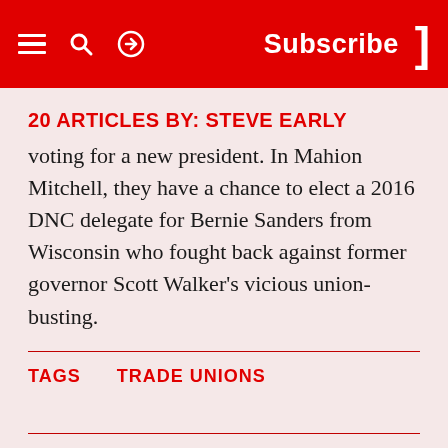Subscribe
20 ARTICLES BY: STEVE EARLY
voting for a new president. In Mahion Mitchell, they have a chance to elect a 2016 DNC delegate for Bernie Sanders from Wisconsin who fought back against former governor Scott Walker's vicious union-busting.
TAGS   TRADE UNIONS